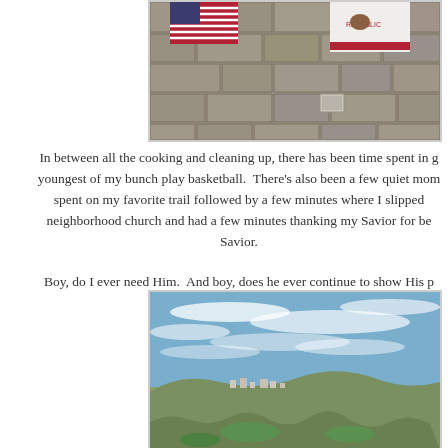[Figure (photo): Photo of a stone/concrete block wall building with an American flag and a California Republic flag hanging on it.]
In between all the cooking and cleaning up, there has been time spent in g youngest of my bunch play basketball.  There's also been a few quiet mom spent on my favorite trail followed by a few minutes where I slipped neighborhood church and had a few minutes thanking my Savior for be Savior.
Boy, do I ever need Him.  And boy, does he ever continue to show His p
[Figure (photo): Outdoor landscape photo showing a wide open hilly terrain with scrub vegetation, suburban buildings in the distance, and a large blue sky with wispy clouds.]